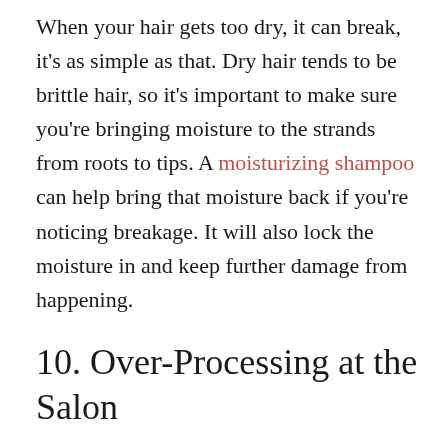When your hair gets too dry, it can break, it's as simple as that. Dry hair tends to be brittle hair, so it's important to make sure you're bringing moisture to the strands from roots to tips. A moisturizing shampoo can help bring that moisture back if you're noticing breakage. It will also lock the moisture in and keep further damage from happening.
10. Over-Processing at the Salon